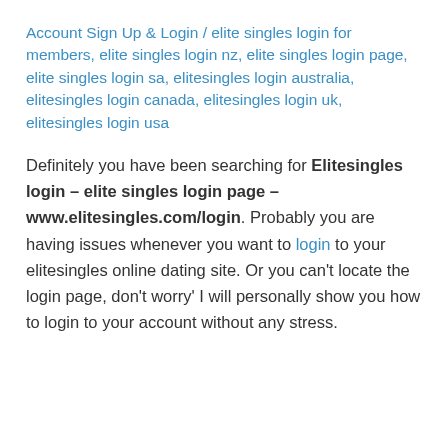Account Sign Up & Login / elite singles login for members, elite singles login nz, elite singles login page, elite singles login sa, elitesingles login australia, elitesingles login canada, elitesingles login uk, elitesingles login usa
Definitely you have been searching for Elitesingles login – elite singles login page – www.elitesingles.com/login. Probably you are having issues whenever you want to login to your elitesingles online dating site. Or you can't locate the login page, don't worry' I will personally show you how to login to your account without any stress.